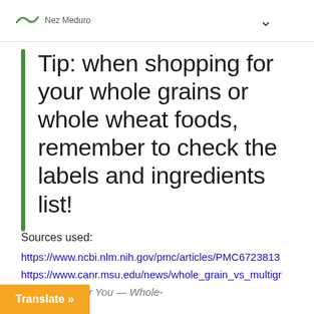Nez Meduro | v
Tip: when shopping for your whole grains or whole wheat foods, remember to check the labels and ingredients list!
Sources used:
https://www.ncbi.nlm.nih.gov/pmc/articles/PMC6723813
https://www.canr.msu.edu/news/whole_grain_vs_multigr
ead Is Best For You — Whole-